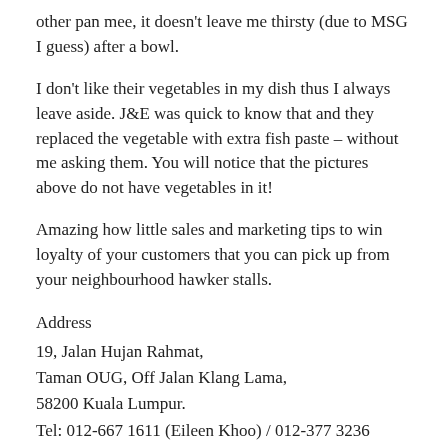other pan mee, it doesn't leave me thirsty (due to MSG I guess) after a bowl.
I don't like their vegetables in my dish thus I always leave aside. J&E was quick to know that and they replaced the vegetable with extra fish paste – without me asking them. You will notice that the pictures above do not have vegetables in it!
Amazing how little sales and marketing tips to win loyalty of your customers that you can pick up from your neighbourhood hawker stalls.
Address
19, Jalan Hujan Rahmat,
Taman OUG, Off Jalan Klang Lama,
58200 Kuala Lumpur.
Tel: 012-667 1611 (Eileen Khoo) / 012-377 3236 (Carol Lee)